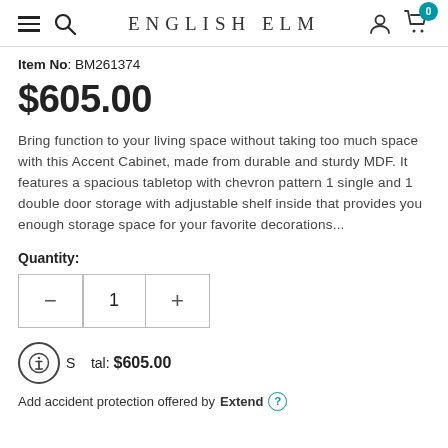ENGLISH ELM
Item No: BM261374
$605.00
Bring function to your living space without taking too much space with this Accent Cabinet, made from durable and sturdy MDF. It features a spacious tabletop with chevron pattern 1 single and 1 double door storage with adjustable shelf inside that provides you enough storage space for your favorite decorations...
Quantity:
Subtotal: $605.00
Add accident protection offered by Extend